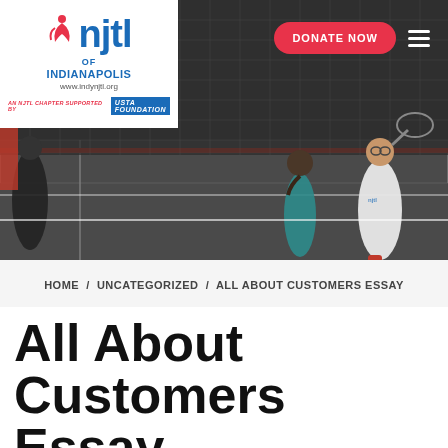[Figure (photo): Children playing tennis on an indoor court. A girl in white shirt swings a racket near a red net. Another child in teal stands watching. An NJTL of Indianapolis banner is visible. Logo overlay in top-left white box shows njtl of Indianapolis branding with USTA Foundation support. Pink 'DONATE NOW' button and hamburger menu in top-right.]
HOME / UNCATEGORIZED / ALL ABOUT CUSTOMERS ESSAY
All About Customers Essay
July 14, 2019  Leave a comment